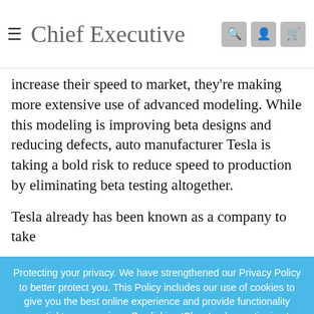Chief Executive
increase their speed to market, they're making more extensive use of advanced modeling. While this modeling is improving beta designs and reducing defects, auto manufacturer Tesla is taking a bold risk to reduce speed to production by eliminating beta testing altogether.
Tesla already has been known as a company to take risks, but this move is cutting-edge and the first of
Protecting your privacy. We have strengthened our Privacy Policy to better protect you. This Policy includes our use of cookies to give you the best online experience and provide functionality essential to our services. By clicking 'Close' or by continuing to use our website, you are consenting to our Privacy Policy which can be found here